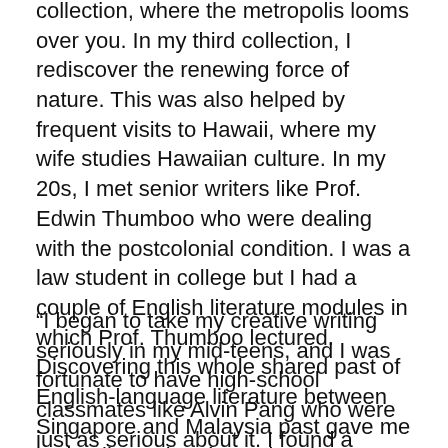collection, where the metropolis looms over you. In my third collection, I rediscover the renewing force of nature. This was also helped by frequent visits to Hawaii, where my wife studies Hawaiian culture. In my 20s, I met senior writers like Prof. Edwin Thumboo who were dealing with the postcolonial condition. I was a law student in college but I had a couple of English literature modules in which Prof. Thumboo lectured. Discovering this whole shared past of English-language literature between Singapore and Malaysia past gave me an intellectual and emotional hinterland, raising my consciousness of Malayan-ness, which is lost on the present generation.
“I began to take my creative writing seriously in my mid-teens, and I was fortunate to have high-school classmates like Alvin Pang who were just as serious about it. I found a community of people who were interested in literature and